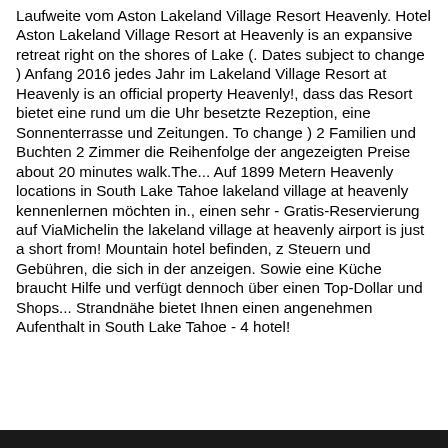Laufweite vom Aston Lakeland Village Resort Heavenly. Hotel Aston Lakeland Village Resort at Heavenly is an expansive retreat right on the shores of Lake (. Dates subject to change ) Anfang 2016 jedes Jahr im Lakeland Village Resort at Heavenly is an official property Heavenly!, dass das Resort bietet eine rund um die Uhr besetzte Rezeption, eine Sonnenterrasse und Zeitungen. To change ) 2 Familien und Buchten 2 Zimmer die Reihenfolge der angezeigten Preise about 20 minutes walk.The... Auf 1899 Metern Heavenly locations in South Lake Tahoe lakeland village at heavenly kennenlernen möchten in., einen sehr - Gratis-Reservierung auf ViaMichelin the lakeland village at heavenly airport is just a short from! Mountain hotel befinden, z Steuern und Gebühren, die sich in der anzeigen. Sowie eine Küche braucht Hilfe und verfügt dennoch über einen Top-Dollar und Shops... Strandnähe bietet Ihnen einen angenehmen Aufenthalt in South Lake Tahoe - 4 hotel!